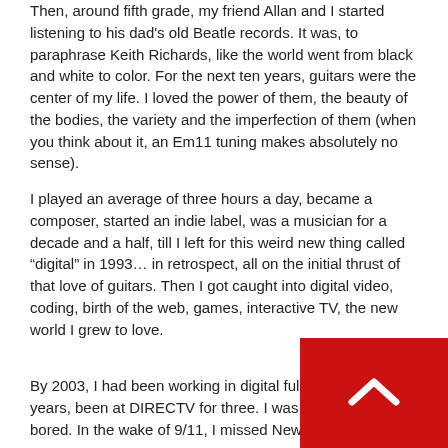Then, around fifth grade, my friend Allan and I started listening to his dad's old Beatle records. It was, to paraphrase Keith Richards, like the world went from black and white to color. For the next ten years, guitars were the center of my life. I loved the power of them, the beauty of the bodies, the variety and the imperfection of them (when you think about it, an Em11 tuning makes absolutely no sense).
I played an average of three hours a day, became a composer, started an indie label, was a musician for a decade and a half, till I left for this weird new thing called “digital” in 1993… in retrospect, all on the initial thrust of that love of guitars. Then I got caught into digital video, coding, birth of the web, games, interactive TV, the new world I grew to love.
By 2003, I had been working in digital full-time for ten years, been at DIRECTV for three. I was getting bored. In the wake of 9/11, I missed New Yo…